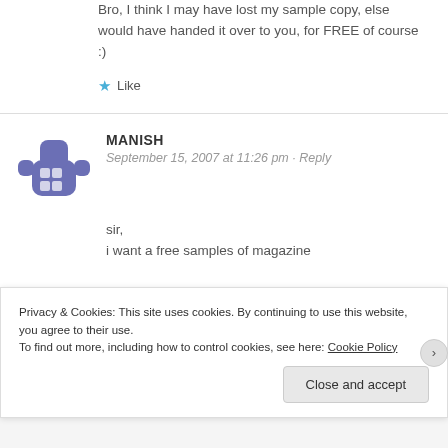Bro, I think I may have lost my sample copy, else would have handed it over to you, for FREE of course :)
★ Like
MANISH
September 15, 2007 at 11:26 pm · Reply
sir,
i want a free samples of magazine
Privacy & Cookies: This site uses cookies. By continuing to use this website, you agree to their use. To find out more, including how to control cookies, see here: Cookie Policy
Close and accept